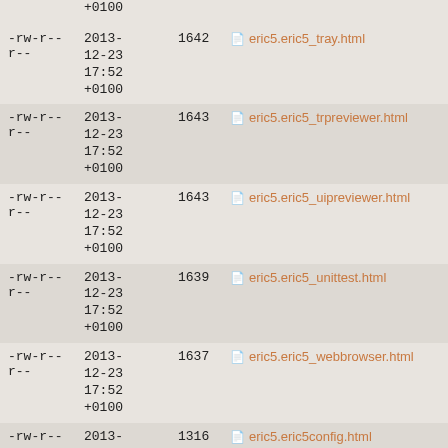| permissions | date | size | filename |
| --- | --- | --- | --- |
| -rw-r--r-- | 2013-12-23 17:52 +0100 | 1642 | eric5.eric5_tray.html |
| -rw-r--r-- | 2013-12-23 17:52 +0100 | 1643 | eric5.eric5_trpreviewer.html |
| -rw-r--r-- | 2013-12-23 17:52 +0100 | 1643 | eric5.eric5_uipreviewer.html |
| -rw-r--r-- | 2013-12-23 17:52 +0100 | 1639 | eric5.eric5_unittest.html |
| -rw-r--r-- | 2013-12-23 17:52 +0100 | 1637 | eric5.eric5_webbrowser.html |
| -rw-r--r-- | 2013-12-23 17:52 +0100 | 1316 | eric5.eric5config.html |
| -rw-r--r-- | 2013-... |  |  |